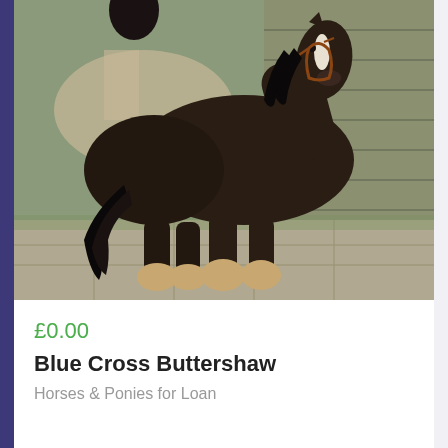[Figure (photo): A dark bay/black Shire or Cob horse with long feathering on its legs and a white blaze on its face, standing on stone paving with a wooden stable building in the background.]
£0.00
Blue Cross Buttershaw
Horses & Ponies for Loan